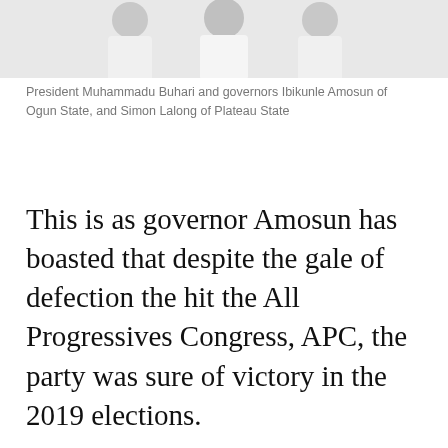[Figure (photo): Photo of President Muhammadu Buhari and governors Ibikunle Amosun of Ogun State, and Simon Lalong of Plateau State, all wearing white attire]
President Muhammadu Buhari and governors Ibikunle Amosun of Ogun State, and Simon Lalong of Plateau State
This is as governor Amosun has boasted that despite the gale of defection the hit the All Progressives Congress, APC, the party was sure of victory in the 2019 elections.